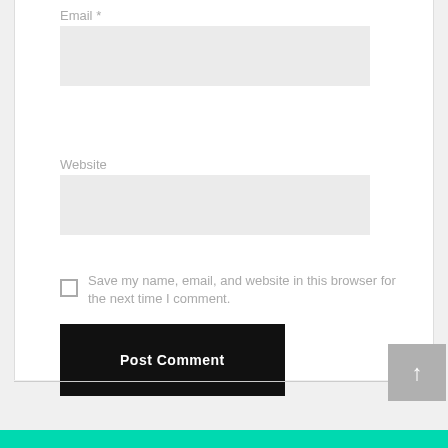Email *
Website
Save my name, email, and website in this browser for the next time I comment.
Post Comment
[Figure (other): Scroll-to-top button with upward arrow icon, grey background]
Teal/turquoise color bar at bottom of page